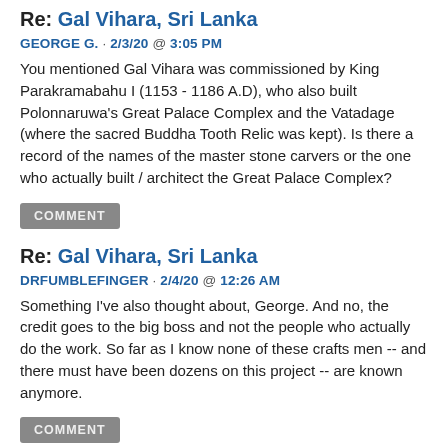Re: Gal Vihara, Sri Lanka
GEORGE G. · 2/3/20  @  3:05 PM
You mentioned Gal Vihara was commissioned by King Parakramabahu I (1153 - 1186 A.D), who also built Polonnaruwa's Great Palace Complex and the Vatadage (where the sacred Buddha Tooth Relic was kept). Is there a record of the names of the master stone carvers or the one who actually built / architect the Great Palace Complex?
COMMENT
Re: Gal Vihara, Sri Lanka
DRFUMBLEFINGER · 2/4/20  @  12:26 AM
Something I've also thought about, George. And no, the credit goes to the big boss and not the people who actually do the work. So far as I know none of these crafts men -- and there must have been dozens on this project -- are known anymore.
COMMENT
Re: Journey through Karnataka: Somnathpur, Belur, and Halebid
MARILYN JONES · 4/27/17  @  8:44 AM